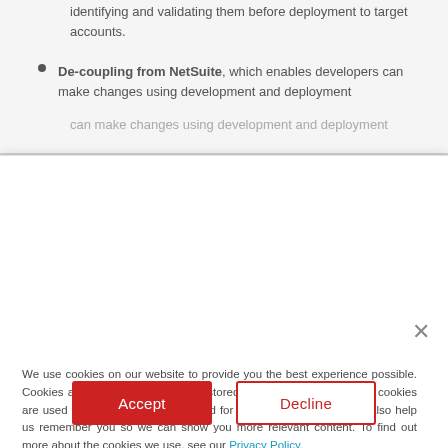identifying and validating them before deployment to target accounts.
De-coupling from NetSuite, which enables developers can make changes using development and deployment...
We use cookies on our website to provide you the best experience possible. Cookies are small snippets of data stored on your computer. These cookies are used to help operate our site and for analytics purposes. They also help us remember you so we can show you more relevant content. To find out more about the cookies we use, see our Privacy Policy.
If you decline, we won't track your information on our site. But in order to comply with your preferences, we'll have to use just one tiny cookie so you're not asked to make this choice again every time you visit our site.